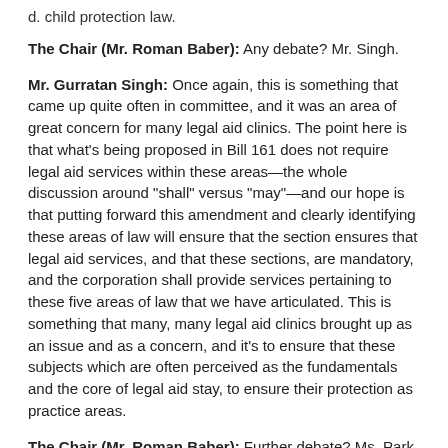d. child protection law.
The Chair (Mr. Roman Baber): Any debate? Mr. Singh.
Mr. Gurratan Singh: Once again, this is something that came up quite often in committee, and it was an area of great concern for many legal aid clinics. The point here is that what's being proposed in Bill 161 does not require legal aid services within these areas—the whole discussion around "shall" versus "may"—and our hope is that putting forward this amendment and clearly identifying these areas of law will ensure that the section ensures that legal aid services, and that these sections, are mandatory, and the corporation shall provide services pertaining to these five areas of law that we have articulated. This is something that many, many legal aid clinics brought up as an issue and as a concern, and it's to ensure that these subjects which are often perceived as the fundamentals and the core of legal aid stay, to ensure their protection as practice areas.
The Chair (Mr. Roman Baber): Further debate? Ms. Park.